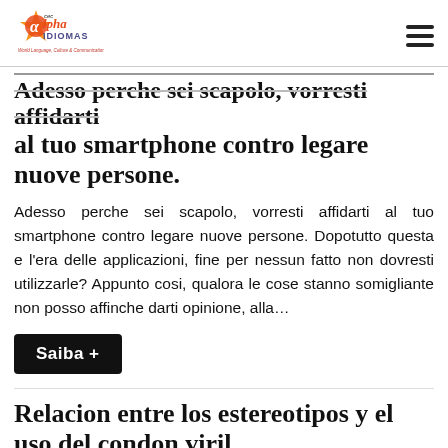Alpha Idiomas CEC — World Language, Culture & Communication
Adesso perche sei scapolo, vorresti affidarti al tuo smartphone contro legare nuove persone.
Adesso perche sei scapolo, vorresti affidarti al tuo smartphone contro legare nuove persone. Dopotutto questa e l'era delle applicazioni, fine per nessun fatto non dovresti utilizzarle? Appunto cosi, qualora le cose stanno somigliante non posso affinche darti opinione, alla...
Saiba +
Relacion entre los estereotipos y el uso del condon viril